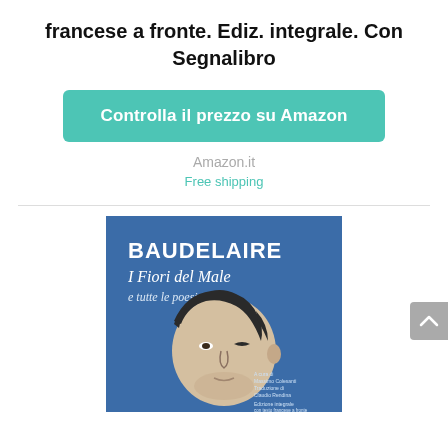francese a fronte. Ediz. integrale. Con Segnalibro
Controlla il prezzo su Amazon
Amazon.it
Free shipping
[Figure (photo): Book cover of 'Baudelaire - I Fiori del Male e tutte le poesie', blue background with an illustrated stylized portrait of a man's face, text includes A cura di Massimo Colesanti, Traduzione di Claudio Rendina, Edizione integrale con testo francese a fronte]